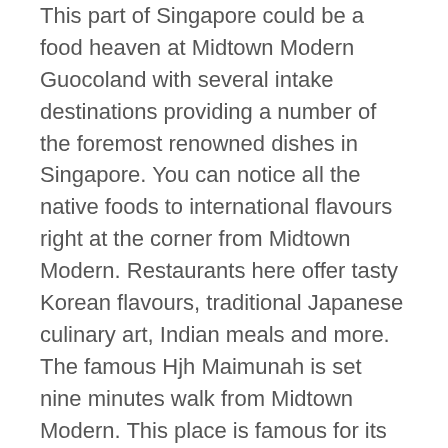This part of Singapore could be a food heaven at Midtown Modern Guocoland with several intake destinations providing a number of the foremost renowned dishes in Singapore. You can notice all the native foods to international flavours right at the corner from Midtown Modern. Restaurants here offer tasty Korean flavours, traditional Japanese culinary art, Indian meals and more. The famous Hjh Maimunah is set nine minutes walk from Midtown Modern. This place is famous for its typical kampung-styled culinary art and signature dishes like rendang, and Sudanese grilled chicken. The nearby Bugis Cube is the excellent destination after you desire intake Chinese cuisines.
The neighbourhood at Midtown Modern Condo also options masses of hawker centres that provide delicious and cheap food. What's more, is that the